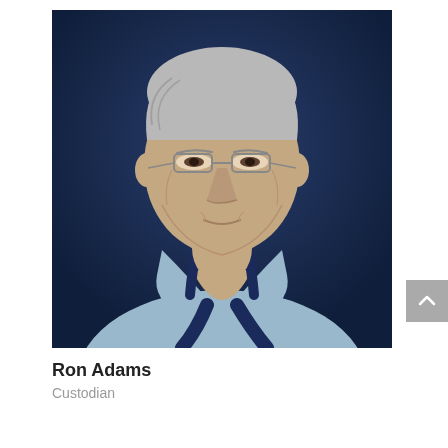[Figure (photo): Portrait photo of an elderly man with gray hair, wearing glasses and a light blue collared shirt with dark blue suspenders, against a dark navy blue background.]
Ron Adams
Custodian